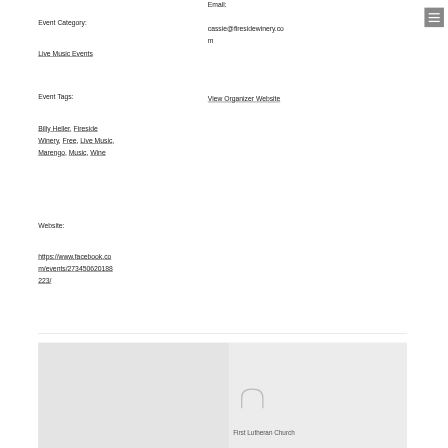Email:
cassie@firesidewinery.com
View Organizer Website
Event Category:
Live Music Events
Event Tags:
Billy Heller, Fireside Winery, Free, Live Music, Marengo, Music, Wine
Website:
https://www.facebook.com/events/273450620188223/
[Figure (map): Map showing location with First Lutheran Church label visible]